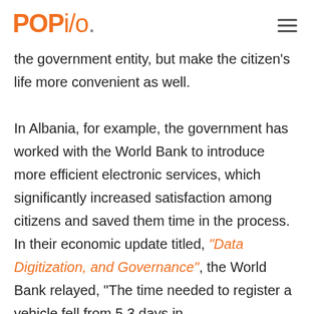POPi/o
the government entity, but make the citizen's life more convenient as well.

In Albania, for example, the government has worked with the World Bank to introduce more efficient electronic services, which significantly increased satisfaction among citizens and saved them time in the process. In their economic update titled, “Data Digitization, and Governance”, the World Bank relayed, “The time needed to register a vehicle fell from 5.3 days in